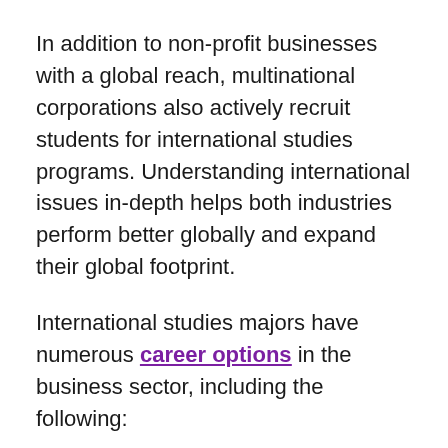In addition to non-profit businesses with a global reach, multinational corporations also actively recruit students for international studies programs. Understanding international issues in-depth helps both industries perform better globally and expand their global footprint.
International studies majors have numerous career options in the business sector, including the following:
International sales staff
Cultural specialists
News reporters and producers